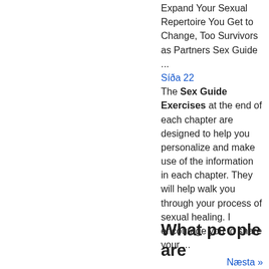Expand Your Sexual Repertoire You Get to Change, Too Survivors as Partners Sex Guide ...
Síða 22
The Sex Guide Exercises at the end of each chapter are designed to help you personalize and make use of the information in each chapter. They will help walk you through your process of sexual healing. I encourage you to share your ...
Næsta »
Hvar er afgangurinn af bókinni?
What people are